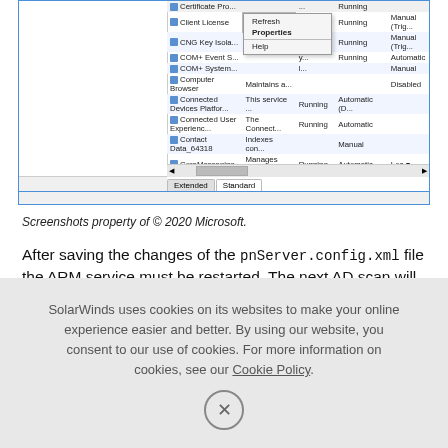[Figure (screenshot): Windows Services manager screenshot showing a partial list of services including Certificate Propagation, Client License, CNG Key Isolation, COM+ Event System, COM+ System Application, Computer Browser, Connected Devices Platform Service, Connected User Experiences, Contact Data_64318, CoreMessaging. A right-click context menu is visible with options: Refresh, Properties (bold), Help. Columns show Name, Description, Status, Startup Type, Log On. Extended/Standard tabs visible at bottom.]
Screenshots property of © 2020 Microsoft.
After saving the changes of the pnServer.config.xml file the ARM service must be restarted. The next AD scan will include the additional attributes.
SolarWinds uses cookies on its websites to make your online experience easier and better. By using our website, you consent to our use of cookies. For more information on cookies, see our Cookie Policy.